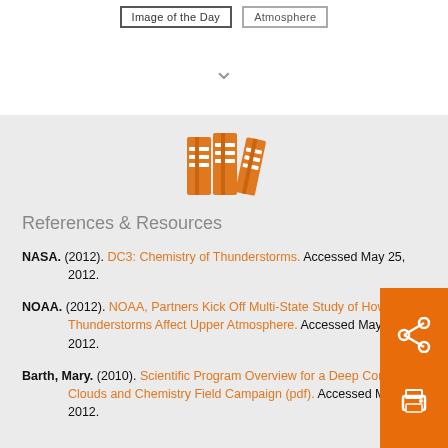[Figure (other): Two UI buttons labeled 'Image of the Day' and 'Atmosphere' at top of page]
[Figure (other): Gray downward chevron/arrow icon]
[Figure (illustration): Orange bookshelves/binders icon representing references and resources]
References & Resources
NASA. (2012). DC3: Chemistry of Thunderstorms. Accessed May 25, 2012.
NOAA. (2012). NOAA, Partners Kick Off Multi-State Study of How Thunderstorms Affect Upper Atmosphere. Accessed May 25, 2012.
Barth, Mary. (2010). Scientific Program Overview for a Deep Convective Clouds and Chemistry Field Campaign (pdf). Accessed May 25, 2012.